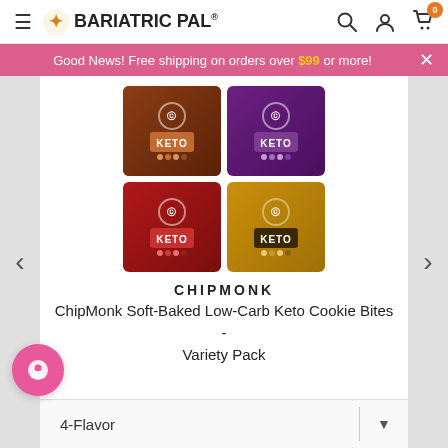BariatricPal
Good News! Free shipping on orders over $99 or more!
[Figure (photo): Four Chipmonk Keto cookie bite bags in brown, purple, red, and yellow packaging arranged in a 2x2 grid]
CHIPMONK
ChipMonk Soft-Baked Low-Carb Keto Cookie Bites - Variety Pack
4-Flavor